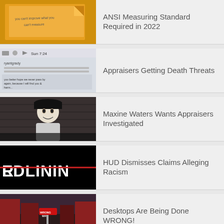[Figure (photo): Handwritten note on orange background: 'you can't improve what you can't measure']
ANSI Measuring Standard Required in 2022
[Figure (screenshot): Screenshot of an email with threatening text from 'ryantgrady']
Appraisers Getting Death Threats
[Figure (illustration): Black and white illustration of a person in a hat]
Maxine Waters Wants Appraisers Investigated
[Figure (photo): Black background with text 'REDLINING' with red strikethrough]
HUD Dismisses Claims Alleging Racism
[Figure (photo): Street scene with red Wrong Way sign]
Desktops Are Being Done WRONG!